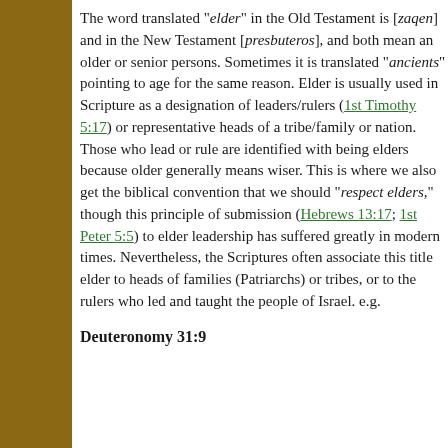The word translated "elder" in the Old Testament is [zaqen] and in the New Testament [presbuteros], and both mean an older or senior persons. Sometimes it is translated "ancients" pointing to age for the same reason. Elder is usually used in Scripture as a designation of leaders/rulers (1st Timothy 5:17) or representative heads of a tribe/family or nation. Those who lead or rule are identified with being elders because older generally means wiser. This is where we also get the biblical convention that we should "respect elders," though this principle of submission (Hebrews 13:17; 1st Peter 5:5) to elder leadership has suffered greatly in modern times. Nevertheless, the Scriptures often associate this title elder to heads of families (Patriarchs) or tribes, or to the rulers who led and taught the people of Israel. e.g.
Deuteronomy 31:9